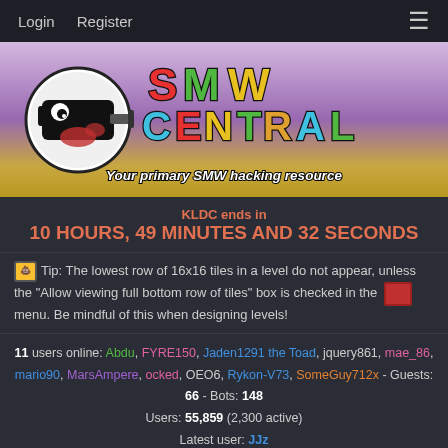Login  Register  ≡
[Figure (logo): SMW Central logo banner with Bullet Bill character and colorful SMW Central text. Tagline: Your primary SMW hacking resource]
KLDC ends in
10 HOURS, 49 MINUTES AND 32 SECONDS
Tip: The lowest row of 16x16 tiles in a level do not appear, unless the "Allow viewing full bottom row of tiles" box is checked in the menu. Be mindful of this when designing levels!
11 users online: Abdu, FYRE150, Jaden1291 the Toad, jquery861, mae_86, mario90, MarsAmpere, ocked, OEO6, Rykon-V73, SomeGuy712x - Guests: 66 - Bots: 148
Users: 55,859 (2,300 active)
Latest user: JJz